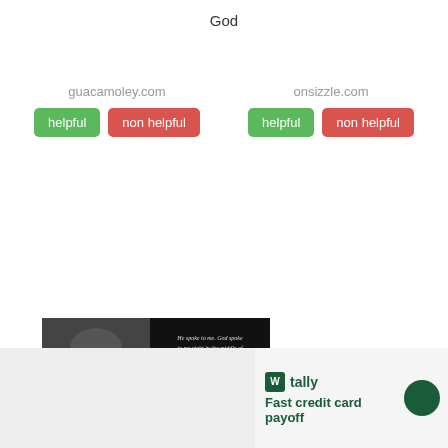God
guacamoley.com
helpful  non helpful
onsizzle.com
helpful  non helpful
[Figure (photo): Black and white image of a smiling man with a fake Joel Osteen quote about God speaking to him, attributed to Joel Osteen]
tally Fast credit card payoff